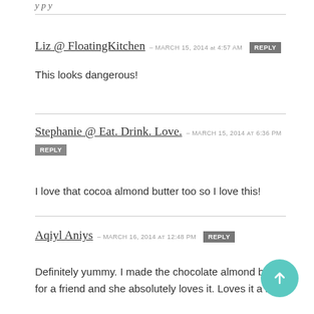Liz @ FloatingKitchen — MARCH 15, 2014 at 4:57 AM
This looks dangerous!
Stephanie @ Eat. Drink. Love. — MARCH 15, 2014 at 6:36 PM
I love that cocoa almond butter too so I love this!
Aqiyl Aniys — MARCH 16, 2014 at 12:48 PM
Definitely yummy. I made the chocolate almond butter for a friend and she absolutely loves it. Loves it a little